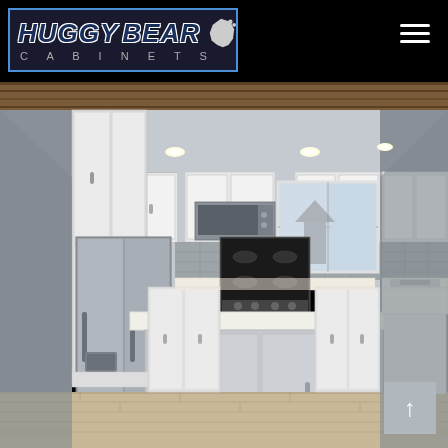Huggy Bear Cabinets
[Figure (logo): Huggy Bear Cabinets logo in a blue-bordered box on black background, with bear silhouette and hamburger menu icon on the right]
[Figure (photo): Interior photo of a modern kitchen remodel with white shaker cabinets, stainless steel appliances including French door refrigerator, gas range and microwave, white quartz countertops, gray tile backsplash, large kitchen island, and light wood flooring with recessed ceiling lights]